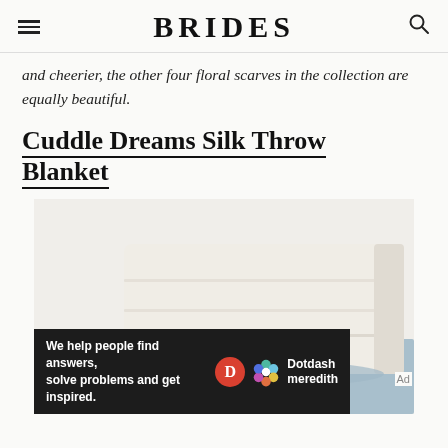BRIDES
and cheerier, the other four floral scarves in the collection are equally beautiful.
Cuddle Dreams Silk Throw Blanket
[Figure (photo): A folded cream/ivory silk throw blanket with fringe, stacked on top of a blue blanket, photographed on a white background.]
We help people find answers, solve problems and get inspired. Dotdash meredith